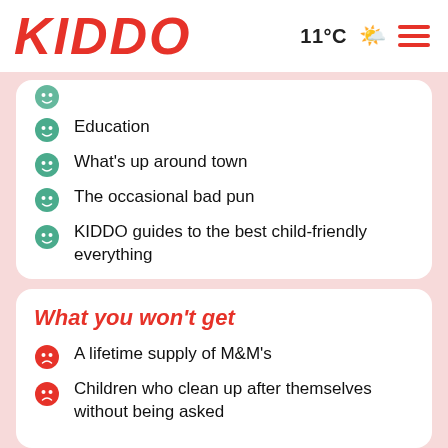KIDDO  11°C  ☁️  ≡
Education
What's up around town
The occasional bad pun
KIDDO guides to the best child-friendly everything
What you won't get
A lifetime supply of M&M's
Children who clean up after themselves without being asked